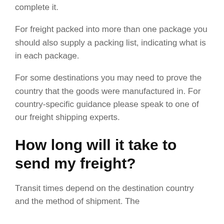complete it.
For freight packed into more than one package you should also supply a packing list, indicating what is in each package.
For some destinations you may need to prove the country that the goods were manufactured in. For country-specific guidance please speak to one of our freight shipping experts.
How long will it take to send my freight?
Transit times depend on the destination country and the method of shipment. The